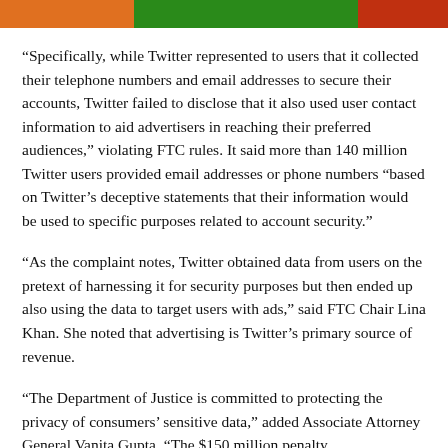[Figure (illustration): Colorful image strip at the top of the page showing orange, green, and red colored sections]
“Specifically, while Twitter represented to users that it collected their telephone numbers and email addresses to secure their accounts, Twitter failed to disclose that it also used user contact information to aid advertisers in reaching their preferred audiences,” violating FTC rules. It said more than 140 million Twitter users provided email addresses or phone numbers “based on Twitter’s deceptive statements that their information would be used to specific purposes related to account security.”
“As the complaint notes, Twitter obtained data from users on the pretext of harnessing it for security purposes but then ended up also using the data to target users with ads,” said FTC Chair Lina Khan. She noted that advertising is Twitter’s primary source of revenue.
“The Department of Justice is committed to protecting the privacy of consumers’ sensitive data,” added Associate Attorney General Vanita Gupta. “The $150 million penalty